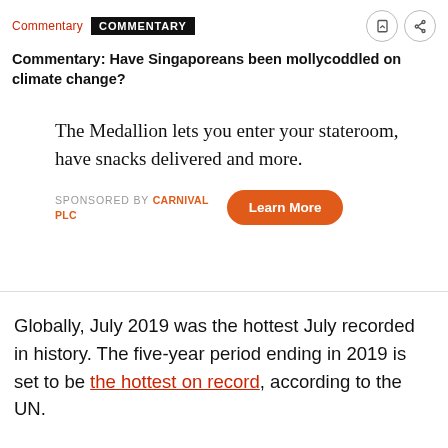Commentary | COMMENTARY
Commentary: Have Singaporeans been mollycoddled on climate change?
[Figure (infographic): Sponsored advertisement block for Carnival PLC. Text reads: 'The Medallion lets you enter your stateroom, have snacks delivered and more.' with a 'Learn More' button and 'SPONSORED BY CARNIVAL PLC' label.]
Globally, July 2019 was the hottest July recorded in history. The five-year period ending in 2019 is set to be the hottest on record, according to the UN.